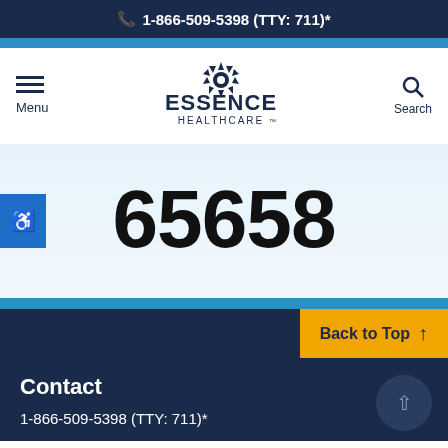1-866-509-5398 (TTY: 711)*
[Figure (logo): Essence Healthcare logo with sun/gear emblem above the text ESSENCE HEALTHCARE]
65658
Back to Top
Contact
1-866-509-5398 (TTY: 711)*